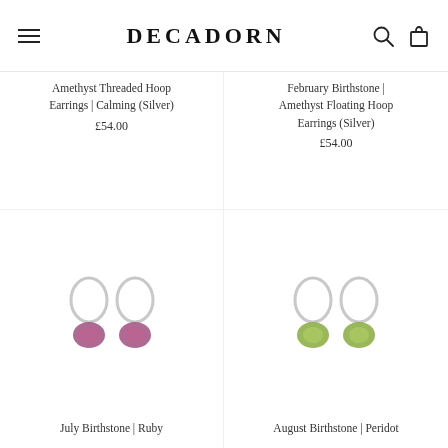DECADORN
Amethyst Threaded Hoop Earrings | Calming (Silver)
£54.00
February Birthstone | Amethyst Floating Hoop Earrings (Silver)
£54.00
[Figure (photo): Two silver hoop earrings with rough ruby/pink gemstone pendants hanging from each hoop]
July Birthstone | Ruby
[Figure (photo): Two silver hoop earrings with rough peridot/green gemstone pendants hanging from each hoop]
August Birthstone | Peridot